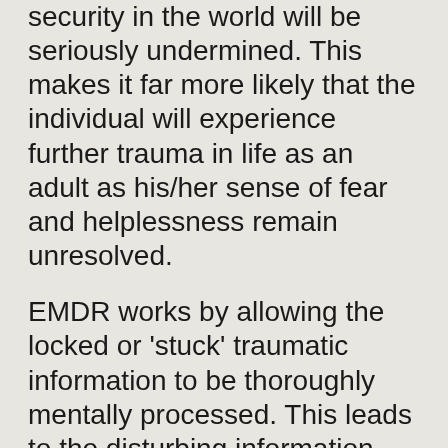security in the world will be seriously undermined. This makes it far more likely that the individual will experience further trauma in life as an adult as his/her sense of fear and helplessness remain unresolved.
EMDR works by allowing the locked or 'stuck' traumatic information to be thoroughly mentally processed. This leads to the disturbing information becoming psychologically resolved and integrated.
HOW DOES EMDR ACTUALLY WORK?